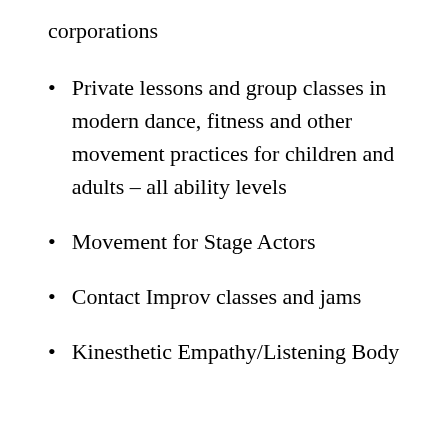corporations
Private lessons and group classes in modern dance, fitness and other movement practices for children and adults – all ability levels
Movement for Stage Actors
Contact Improv classes and jams
Kinesthetic Empathy/Listening Body